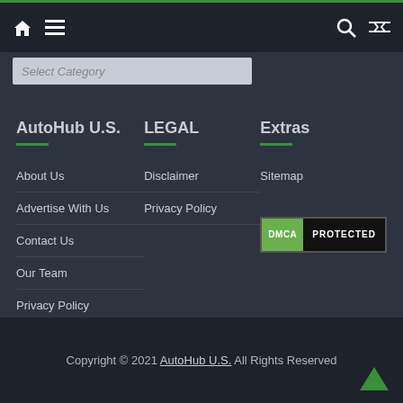Navigation bar with home, menu, search, and shuffle icons
Select Category
AutoHub U.S.
About Us
Advertise With Us
Contact Us
Our Team
Privacy Policy
LEGAL
Disclaimer
Privacy Policy
Extras
Sitemap
[Figure (logo): DMCA PROTECTED badge with green DMCA label and black PROTECTED text]
Copyright © 2021 AutoHub U.S. All Rights Reserved